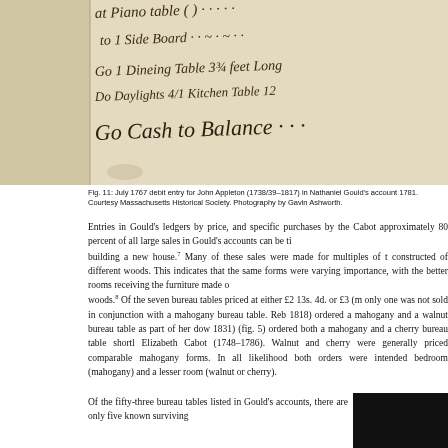[Figure (photo): Photograph of a historical handwritten ledger page showing cursive entries including 'Piano Table', 'Side Board', 'Dineing Table 3¾ feet Long', 'Daylights 4/1 Kitchen Table 12', and 'Cash to Balance'. The paper is aged/yellowed.]
Fig. 11: July 1767 debit entry for John Appleton (1738/39–1817) in Nathaniel Gould's account 1781. Courtesy Massachusetts Historical Society. Photography by Gavin Ashworth.
Entries in Gould's ledgers by price, and specific purchases by the Cabot approximately 80 percent of all large sales in Gould's accounts can be ti building a new house.7 Many of these sales were made for multiples of t constructed of different woods. This indicates that the same forms were varying importance, with the better rooms receiving the furniture made o woods.8 Of the seven bureau tables priced at either £2 13s. 4d. or £3 (m only one was not sold in conjunction with a mahogany bureau table. Reb 1818) ordered a mahogany and a walnut bureau table as part of her dow 1831) (fig. 5) ordered both a mahogany and a cherry bureau table shorttl Elizabeth Cabot (1748–1786). Walnut and cherry were generally priced comparable mahogany forms. In all likelihood both orders were intended bedroom (mahogany) and a lesser room (walnut or cherry).
Of the fifty-three bureau tables listed in Gould's accounts, there are only five known surviving